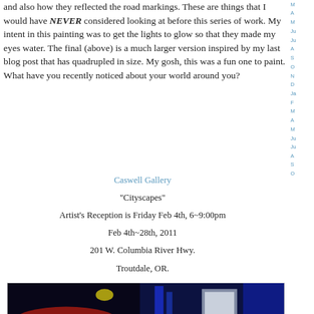and also how they reflected the road markings. These are things that I would have NEVER considered looking at before this series of work. My intent in this painting was to get the lights to glow so that they made my eyes water. The final (above) is a much larger version inspired by my last blog post that has quadrupled in size. My gosh, this was a fun one to paint. What have you recently noticed about your world around you?
Caswell Gallery
"Cityscapes"
Artist's Reception is Friday Feb 4th, 6~9:00pm
Feb 4th~28th, 2011
201 W. Columbia River Hwy.
Troutdale, OR.
[Figure (photo): A painting showing a dark cityscape at night with red, blue, and white colors reflecting off surfaces.]
M
A
M
Ju
Ju
A
S
O
N
D
Ja
F
M
A
M
Ju
Ju
A
S
O